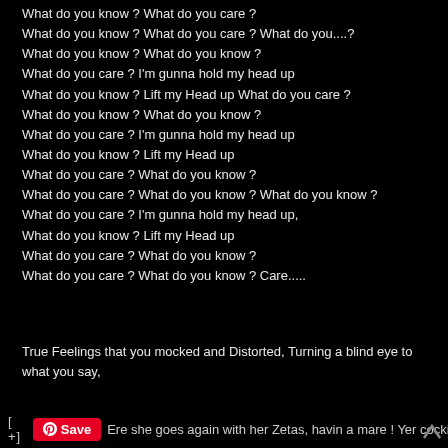What do you know ? What do you care ?
What do you know ? What do you care ? What do you....?
What do you know ? What do you know ?
What do you care ? I'm gunna hold my head up
What do you know ? Lift my Head up What do you care ?
What do you know ? What do you know ?
What do you care ? I'm gunna hold my head up
What do you know ? Lift my Head up
What do you care ? What do you know ?
What do you care ? What do you know ? What do you know ?
What do you care ? I'm gunna hold my head up,
What do you know ? Lift my Head up
What do you care ? What do you know ?
What do you care ? What do you know ? Care.....
True Feelings that you mocked and Distorted, Turning a blind eye to what you say,
[ +]  Save  Ere she goes again with her Zetas, havin a mare ! Yer cockin a deaf un